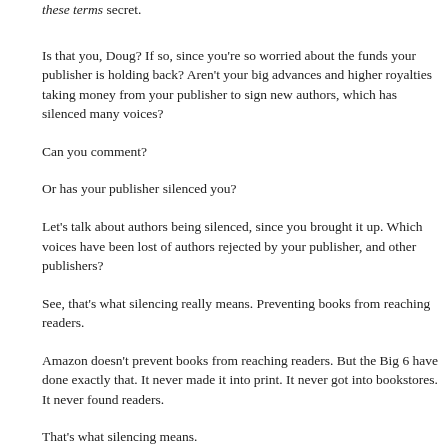these terms secret.
Is that you, Doug? If so, since you're so worried about the funds your publisher is holding back? Aren't your big advances and higher royalties taking money from your publisher to sign new authors, which has silenced many voices?
Can you comment?
Or has your publisher silenced you?
Let's talk about authors being silenced, since you brought it up. Which voices have been lost of authors rejected by your publisher, and other publishers?
See, that's what silencing really means. Preventing books from reaching readers.
Amazon doesn't prevent books from reaching readers. But the Big 6 have done exactly that. It never made it into print. It never got into bookstores. It never found readers.
That's what silencing means.
I gotta be honest here, Doug. I'm really starting to dislike you a little bit.